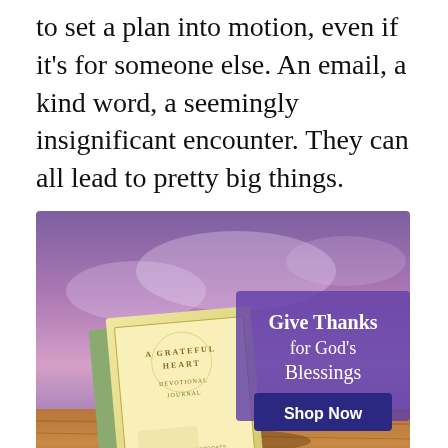to set a plan into motion, even if it's for someone else. An email, a kind word, a seemingly insignificant encounter. They can all lead to pretty big things.
[Figure (illustration): Advertisement for 'A Grateful Heart Devotional Journal' showing a book on a wooden surface with purple/pink sky background. Text reads 'Give Thanks for God’s Blessings' with a 'Shop Now' dark blue button.]
Read More: Look for Beauty Every Day
Here's the rest of Bronnie Ware's list, adopted